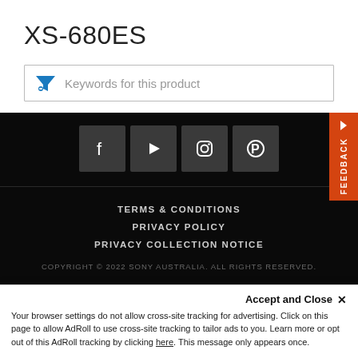XS-680ES
[Figure (screenshot): Search/filter input box with blue funnel icon and placeholder text 'Keywords for this product']
[Figure (infographic): Dark footer section with social media icons (Facebook, YouTube, Instagram, Pinterest), orange feedback tab on right, footer links: TERMS & CONDITIONS, PRIVACY POLICY, PRIVACY COLLECTION NOTICE, copyright notice]
TERMS & CONDITIONS
PRIVACY POLICY
PRIVACY COLLECTION NOTICE
COPYRIGHT © 2022 SONY AUSTRALIA. ALL RIGHTS RESERVED.
Accept and Close ✕
Your browser settings do not allow cross-site tracking for advertising. Click on this page to allow AdRoll to use cross-site tracking to tailor ads to you. Learn more or opt out of this AdRoll tracking by clicking here. This message only appears once.